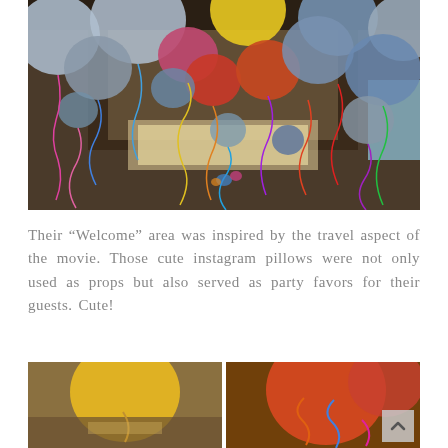[Figure (photo): Interior room ceiling covered with colorful balloons (blue, silver, red, orange, yellow, pink) with curly ribbons hanging down, viewed from below in a restaurant or event space with wooden paneled ceiling.]
Their “Welcome” area was inspired by the travel aspect of the movie. Those cute instagram pillows were not only used as props but also served as party favors for their guests. Cute!
[Figure (photo): Two partial photos at the bottom: left shows yellow balloon with blurred background, right shows orange/red balloons with colorful ribbons.]